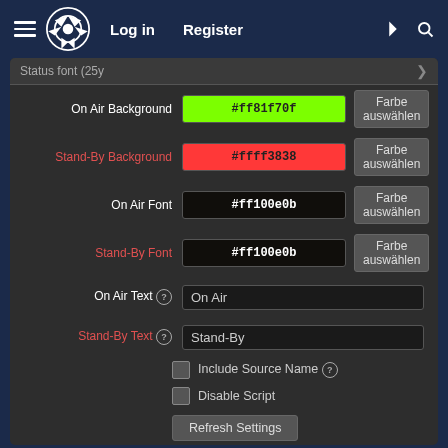[Figure (screenshot): OBS Forum navigation bar with hamburger menu, OBS logo, Log in, Register links, lightning bolt icon, and search icon on dark navy background]
[Figure (screenshot): OBS plugin settings panel showing On Air Background (#ff81f70f, green), Stand-By Background (#ffff3838, red), On Air Font (#ff100e0b, black), Stand-By Font (#ff100e0b, black), On Air Text field with 'On Air', Stand-By Text field with 'Stand-By', Include Source Name checkbox, Disable Script checkbox, and Refresh Settings button]
This site uses cookies to help personalise content, tailor your experience and to keep you logged in if you register.
By continuing to use this site, you are consenting to our use of cookies.
Accept
Learn more...